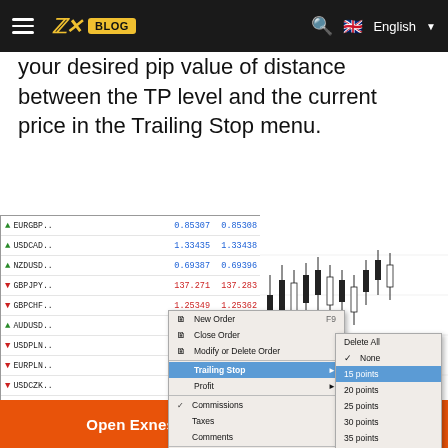Exness Blog — English
your desired pip value of distance between the TP level and the current price in the Trailing Stop menu.
[Figure (screenshot): MetaTrader 4 platform screenshot showing the symbol list panel with currency pairs (EURGBP, USDCAD, NZDUSD, GBPJPY, GBPCHF, AUDUSD, USDPLN, EURPLN, USDCZK, EURCZK, GBPPLN, CHFPLN, CHFJPY), a candlestick chart, a right-click context menu with options: New Order (F9), Close Order, Modify or Delete Order, Trailing Stop (submenu shown with: Delete All, None, 15 points selected/highlighted, 20 points, 25 points, 30 points, 35 points, 40 points, 45 points, 50 points, Custom...), Profit, Commissions (checked), Taxes, Comments, Auto Arrange (A, checked), Grid (G, checked). Order panel shows order 76997830 selected and 77273216 dated 2017.04.03 11:46:00. Status bar: Balance: 97 727.70 GBP  Equity: 99 905.67  Margin: 1 020.01  Free margin: 96 70]
Open Exness Demo Account For Free